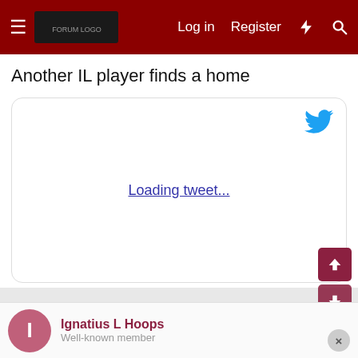Log in  Register
Another IL player finds a home
[Figure (screenshot): Embedded tweet placeholder showing Twitter bird icon and 'Loading tweet...' link text]
Ignatius L Hoops
Well-known member